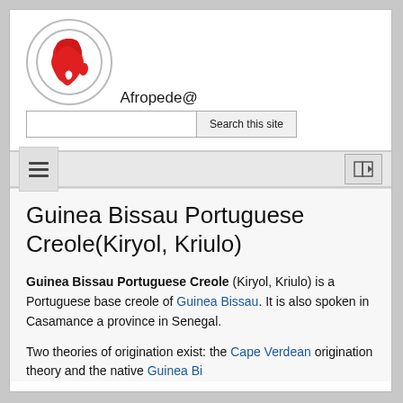[Figure (logo): Afropede@ logo: red silhouette map of Africa inside a circle]
Afropede@
Guinea Bissau Portuguese Creole(Kiryol, Kriulo)
Guinea Bissau Portuguese Creole (Kiryol, Kriulo) is a Portuguese base creole of Guinea Bissau. It is also spoken in Casamance a province in Senegal.
Two theories of origination exist: the Cape Verdean origination theory and the native Guinea Bi... origination theory and the ...1500...